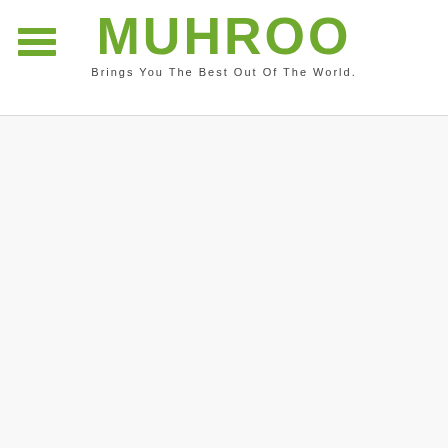[Figure (logo): MUHROO brand logo with hamburger menu icon on the left. The logo text 'MUHROO' is displayed in large bold green letters, with tagline 'Brings You The Best Out Of The World.' below it in smaller dark gray text.]
Brings You The Best Out Of The World.